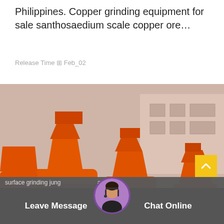Philippines. Copper grinding equipment for sale santhosaedium scale copper ore…
Release Time ⊠ Feb_02
[Figure (photo): Rows of large orange industrial copper grinding mill machines lined up in a factory yard, with a white building in the background.]
surface grinding jung … a
Leave Message   Chat Online